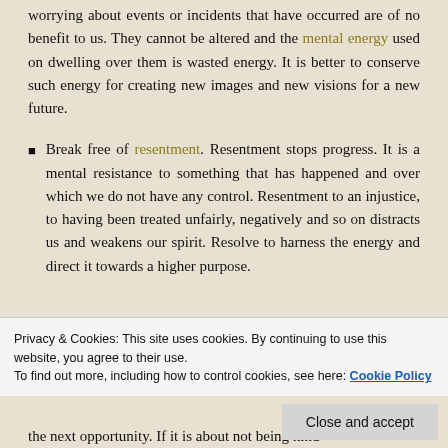worrying about events or incidents that have occurred are of no benefit to us. They cannot be altered and the mental energy used on dwelling over them is wasted energy. It is better to conserve such energy for creating new images and new visions for a new future.
Break free of resentment. Resentment stops progress. It is a mental resistance to something that has happened and over which we do not have any control. Resentment to an injustice, to having been treated unfairly, negatively and so on distracts us and weakens our spirit. Resolve to harness the energy and direct it towards a higher purpose.
Privacy & Cookies: This site uses cookies. By continuing to use this website, you agree to their use. To find out more, including how to control cookies, see here: Cookie Policy
the next opportunity. If it is about not being kind